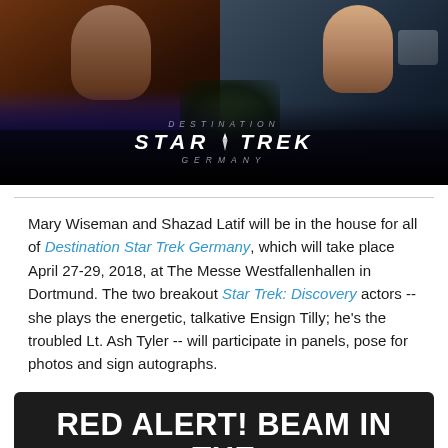[Figure (photo): Promotional banner image for Destination Star Trek Germany featuring two actors from Star Trek: Discovery — a male actor on the left with dark background and a female actress on the right in Starfleet uniform holding a communicator. The Destination Star Trek Germany logo is overlaid at the bottom of the image.]
Mary Wiseman and Shazad Latif will be in the house for all of Destination Star Trek Germany, which will take place April 27-29, 2018, at The Messe Westfallenhallen in Dortmund. The two breakout Star Trek: Discovery actors -- she plays the energetic, talkative Ensign Tilly; he's the troubled Lt. Ash Tyler -- will participate in panels, pose for photos and sign autographs.
RED ALERT! BEAM IN THE